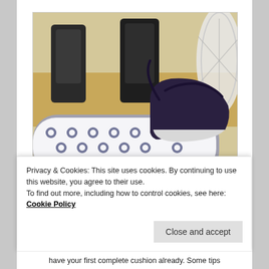[Figure (photo): A clothes iron resting on an ironing board covered with a white and dark blue floral patterned fabric cover. In the background are dark wooden chairs and a table, and a white electric fan is visible on the right side.]
Privacy & Cookies: This site uses cookies. By continuing to use this website, you agree to their use.
To find out more, including how to control cookies, see here: Cookie Policy
have your first complete cushion already. Some tips